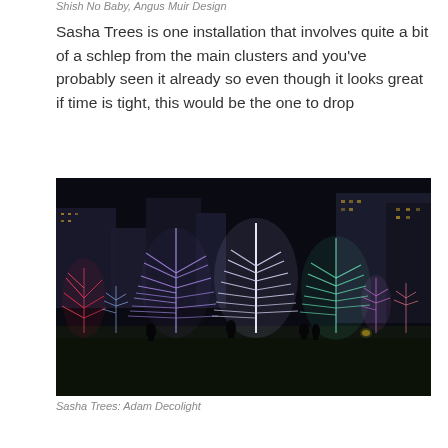Shish No Baby, Angus Muir Design
Sasha Trees is one installation that involves quite a bit of a schlep from the main clusters and you've probably seen it already so even though it looks great if time is tight, this would be the one to drop
[Figure (photo): Night-time outdoor light installation called Sasha Trees: multiple illuminated wire-frame trees glowing in pink, purple, blue, and white colors against a dark sky with city buildings in the background. Silhouettes of people are visible walking among the trees on a lawn.]
Sasha Trees: Adam Decolight